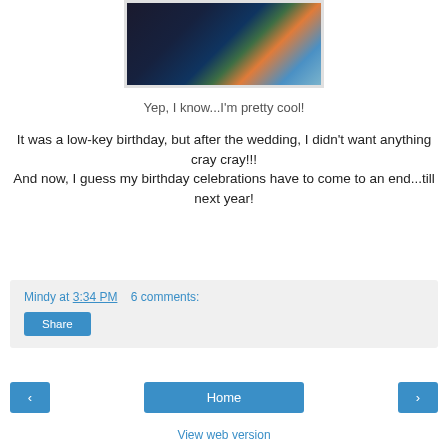[Figure (photo): Cropped photo of people at a party or celebration, dark tones with colorful clothing visible]
Yep, I know...I'm pretty cool!
It was a low-key birthday, but after the wedding, I didn't want anything cray cray!!!
And now, I guess my birthday celebrations have to come to an end...till next year!
Mindy at 3:34 PM    6 comments:
Share
Home
View web version